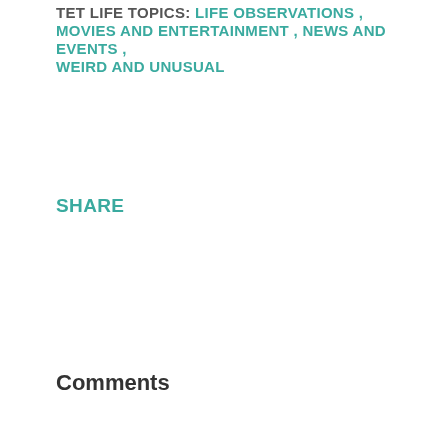TET LIFE TOPICS: LIFE OBSERVATIONS , MOVIES AND ENTERTAINMENT , NEWS AND EVENTS , WEIRD AND UNUSUAL
SHARE
Comments
Mum60 · August 03, 2016 2:50 PM
I haven't heard of the Jedi joke, but my religion with my family was just Church of England. I and my elder sister, Carol used to go to church most Sunday mornings as children if we got up in time, but we always went to the Sunday school in the afternoons. This was to the local church (Church Of St. John) and to the Sunday school rooms just across from the church